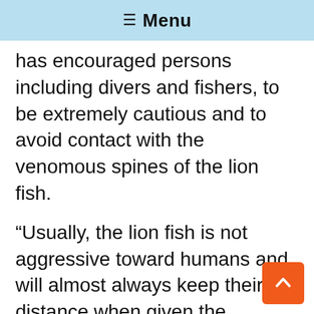≡ Menu
has encouraged persons including divers and fishers, to be extremely cautious and to avoid contact with the venomous spines of the lion fish.
“Usually, the lion fish is not aggressive toward humans and will almost always keep their distance when given the opportunity, so they pose a relatively low risk.  In addition, their stings are not deadly, but they are usually very painful.  Anyone stung by a lion fish should seek immediate medical attention,” the Department advised